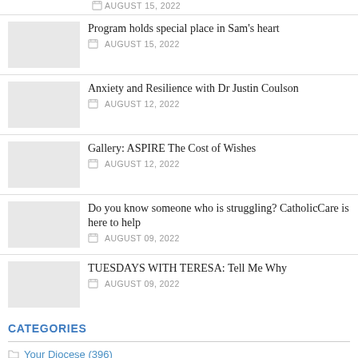AUGUST 15, 2022
Program holds special place in Sam's heart
AUGUST 15, 2022
Anxiety and Resilience with Dr Justin Coulson
AUGUST 12, 2022
Gallery: ASPIRE The Cost of Wishes
AUGUST 12, 2022
Do you know someone who is struggling? CatholicCare is here to help
AUGUST 09, 2022
TUESDAYS WITH TERESA: Tell Me Why
AUGUST 09, 2022
CATEGORIES
Your Diocese (396)
Catholic Schools (1269)
Liturgy Matters (120)